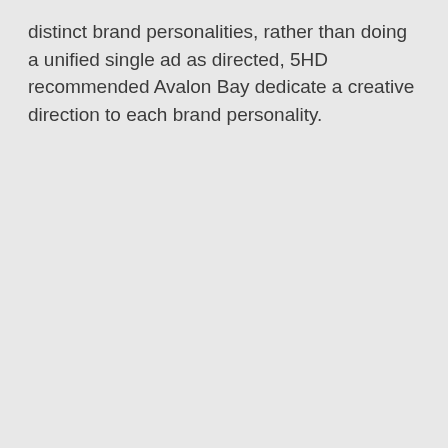distinct brand personalities, rather than doing a unified single ad as directed, 5HD recommended Avalon Bay dedicate a creative direction to each brand personality.